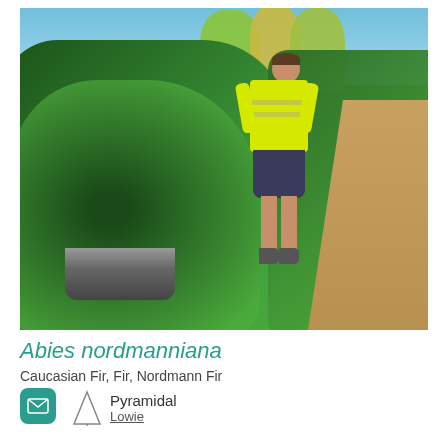[Figure (photo): Outdoor nursery photo showing rows of Abies nordmanniana (Nordmann Fir) trees in large black containers along a gravel path, with a young man wearing a yellow high-visibility vest and plaid shorts standing among the trees under a blue sky.]
Abies nordmanniana
Caucasian Fir, Fir, Nordmann Fir
Pyramidal
Lowie